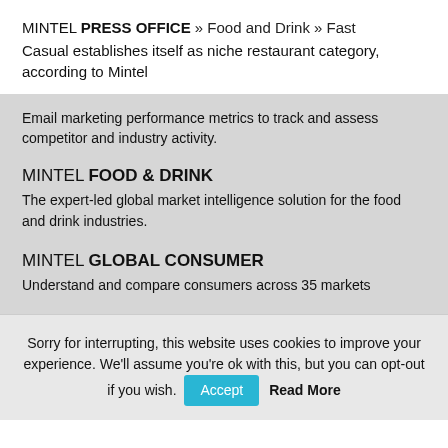MINTEL PRESS OFFICE » Food and Drink » Fast Casual establishes itself as niche restaurant category, according to Mintel
Email marketing performance metrics to track and assess competitor and industry activity.
MINTEL FOOD & DRINK
The expert-led global market intelligence solution for the food and drink industries.
MINTEL GLOBAL CONSUMER
Understand and compare consumers across 35 markets
Sorry for interrupting, this website uses cookies to improve your experience. We'll assume you're ok with this, but you can opt-out if you wish. Accept Read More